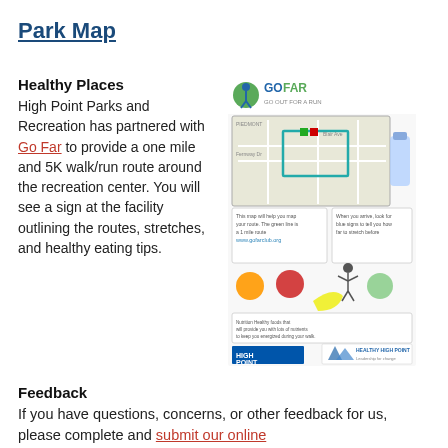Park Map
Healthy Places
High Point Parks and Recreation has partnered with Go Far to provide a one mile and 5K walk/run route around the recreation center. You will see a sign at the facility outlining the routes, stretches, and healthy eating tips.
[Figure (infographic): Go Far club infographic showing a map of a walk/run route near a recreation center, with health tips, stretching exercises, food images, and logos for High Point and Healthy High Point. Website www.gofarclub.org shown.]
Feedback
If you have questions, concerns, or other feedback for us, please complete and submit our online